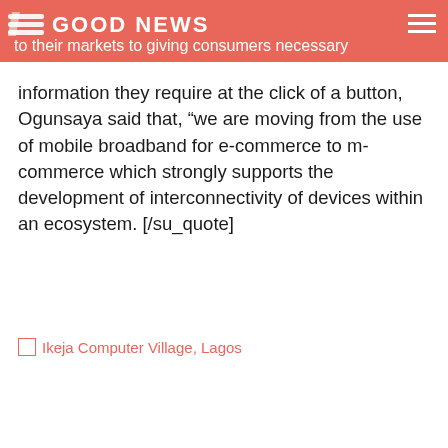GOOD NEWS
to their markets to giving consumers necessary information they require at the click of a button, Ogunsaya said that, “we are moving from the use of mobile broadband for e-commerce to m-commerce which strongly supports the development of interconnectivity of devices within an ecosystem. [/su_quote]
[Figure (photo): Broken image placeholder with alt text: Ikeja Computer Village, Lagos]